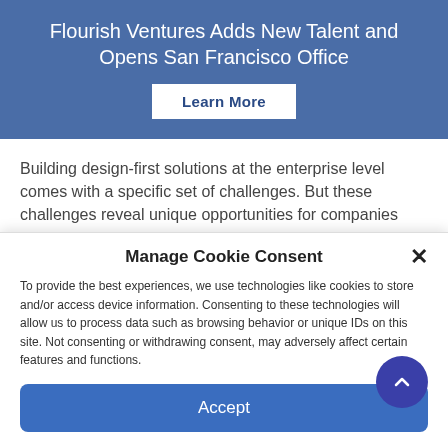Flourish Ventures Adds New Talent and Opens San Francisco Office
Learn More
Building design-first solutions at the enterprise level comes with a specific set of challenges. But these challenges reveal unique opportunities for companies looking to create design-first solutions.
Manage Cookie Consent
To provide the best experiences, we use technologies like cookies to store and/or access device information. Consenting to these technologies will allow us to process data such as browsing behavior or unique IDs on this site. Not consenting or withdrawing consent, may adversely affect certain features and functions.
Accept